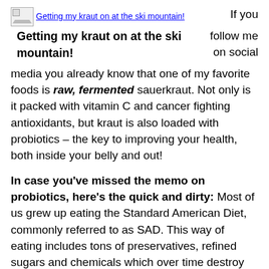[Figure (photo): Broken image placeholder for 'Getting my kraut on at the ski mountain!']
Getting my kraut on at the ski mountain!
If you follow me on social media you already know that one of my favorite foods is raw, fermented sauerkraut. Not only is it packed with vitamin C and cancer fighting antioxidants, but kraut is also loaded with probiotics – the key to improving your health, both inside your belly and out!
In case you've missed the memo on probiotics, here's the quick and dirty: Most of us grew up eating the Standard American Diet, commonly referred to as SAD. This way of eating includes tons of preservatives, refined sugars and chemicals which over time destroy the ecology of the gut inhibiting good health. In order to restore balance in our bodies we must replace the beneficial bacteria killed off by our SAD food choices (and likely overuse of antibiotics